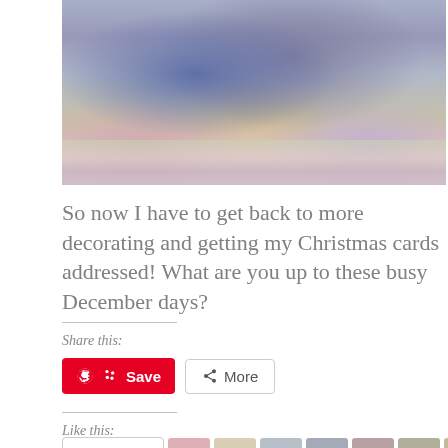[Figure (photo): Needlepoint or cross-stitch embroidery artwork showing figures and colorful floral border at bottom]
So now I have to get back to more decorating and getting my Christmas cards addressed!  What are you up to these busy December days?
Share this:
[Figure (other): Share buttons: red Pinterest Save button and grey More button]
Like this:
[Figure (other): Like button and row of avatar/profile images]